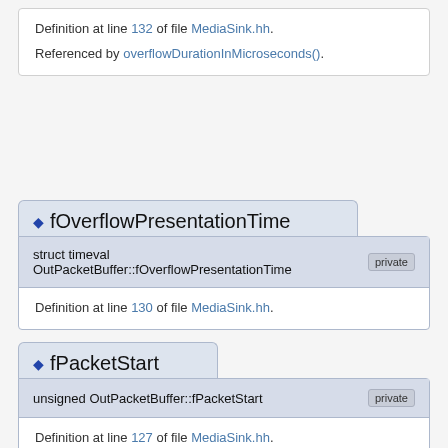Definition at line 132 of file MediaSink.hh.
Referenced by overflowDurationInMicroseconds().
◆ fOverflowPresentationTime
struct timeval OutPacketBuffer::fOverflowPresentationTime   private
Definition at line 130 of file MediaSink.hh.
◆ fPacketStart
unsigned OutPacketBuffer::fPacketStart   private
Definition at line 127 of file MediaSink.hh.
Referenced by curPtr(), packet(), and totalBytesAvailable().